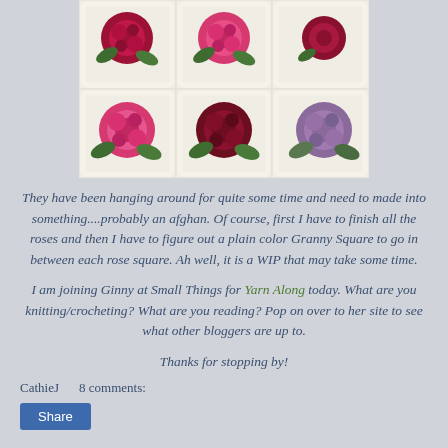[Figure (photo): Crocheted rose granny squares in various colors: dark red/crimson, pink, and lavender/purple roses on cream-colored square backgrounds arranged in a grid]
They have been hanging around for quite some time and need to made into something....probably an afghan. Of course, first I have to finish all the roses and then I have to figure out a plain color Granny Square to go in between each rose square. Ah well, it is a WIP that may take some time.
I am joining Ginny at Small Things for Yarn Along today. What are you knitting/crocheting? What are you reading? Pop on over to her site to see what other bloggers are up to.
Thanks for stopping by!
CathieJ    8 comments: